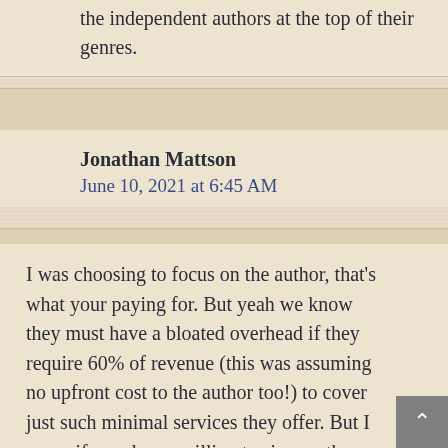the independent authors at the top of their genres.
Jonathan Mattson
June 10, 2021 at 6:45 AM
I was choosing to focus on the author, that's what your paying for. But yeah we know they must have a bloated overhead if they require 60% of revenue (this was assuming no upfront cost to the author too!) to cover just such minimal services they offer. But I guess if people are willing to sign on the line and fork out that share of lifetime earnings....